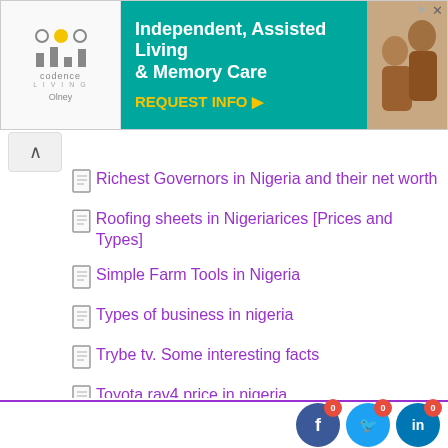[Figure (screenshot): Advertisement banner for Codence Living (Olney) — Independent, Assisted Living & Memory Care, with REQUEST INFO call to action on teal background, and a photo of elderly people.]
Richest Governors in Nigeria and their net worth
Roofing sheets in Nigeriarices [Prices and Types]
Simple Farm Tools in Nigeria
Types of business in nigeria
Trybe tv. Some interesting facts
Toyota rav4 price in nigeria
Toyota camry muscle 2010 price in nigeria
Top restaurants in lagos
Butterfly sewing machine. All you need to